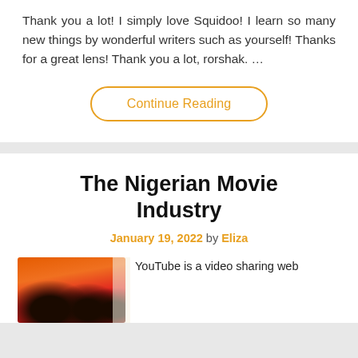Thank you a lot! I simply love Squidoo! I learn so many new things by wonderful writers such as yourself! Thanks for a great lens! Thank you a lot, rorshak. …
Continue Reading
The Nigerian Movie Industry
January 19, 2022 by Eliza
[Figure (photo): Photo of people, warm red/orange background]
YouTube is a video sharing web